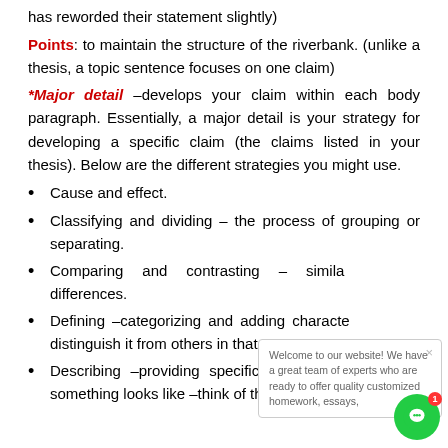has reworded their statement slightly)
Points: to maintain the structure of the riverbank. (unlike a thesis, a topic sentence focuses on one claim)
*Major detail –develops your claim within each body paragraph. Essentially, a major detail is your strategy for developing a specific claim (the claims listed in your thesis). Below are the different strategies you might use.
Cause and effect.
Classifying and dividing – the process of grouping or separating.
Comparing and contrasting – similarities and differences.
Defining –categorizing and adding characteristics that distinguish it from others in that group.
Describing –providing specific details to show what something looks like –think of the senses.